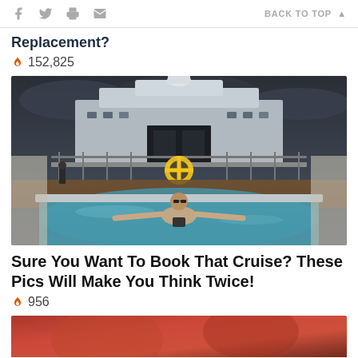f  (twitter)  (print)  (email)    BACK TO TOP ▲
Replacement?
🔥 152,825
[Figure (photo): Person standing in a pool on a cruise ship deck, with the ship's superstructure visible in the background under a dark stormy sky. A yellow life preserver ring is hanging in the center background.]
Sure You Want To Book That Cruise? These Pics Will Make You Think Twice!
🔥 956
[Figure (photo): Partial view of another article's thumbnail image showing a reddish/orange toned photo, partially visible at bottom of page.]